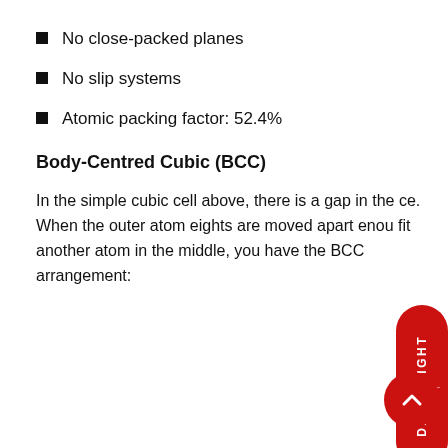No close-packed planes
No slip systems
Atomic packing factor: 52.4%
Body-Centred Cubic (BCC)
In the simple cubic cell above, there is a gap in the centre. When the outer atom eights are moved apart enough to fit another atom in the middle, you have the BCC arrangement: